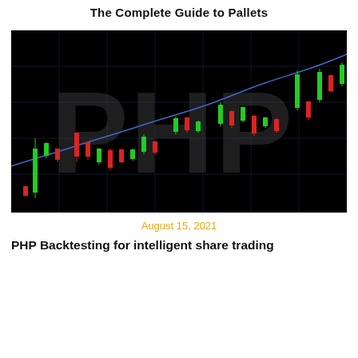The Complete Guide to Pallets
[Figure (illustration): Candlestick chart with green and red candles on a black background, with a blue moving average curve overlaid, and large dark semi-transparent 'PHP' text watermarked across the chart.]
August 15, 2021
PHP Backtesting for intelligent share trading